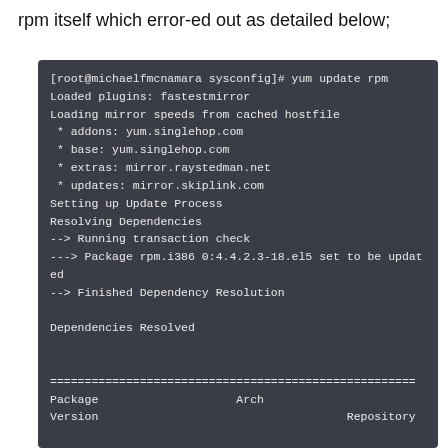rpm itself which error-ed out as detailed below;
[Figure (screenshot): Terminal screenshot showing yum update rpm command output with loaded plugins, mirror speeds, dependency resolution, and a table header showing Package, Arch, Version, Repository columns.]